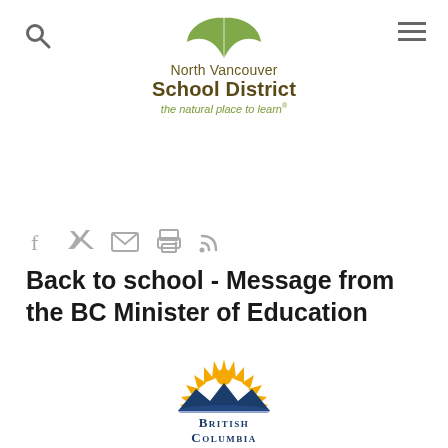North Vancouver School District — the natural place to learn
[Figure (logo): North Vancouver School District logo with green leaf and text 'North Vancouver School District, the natural place to learn']
[Figure (infographic): Social sharing icons: Facebook, Twitter, Email, Print, RSS]
Back to school - Message from the BC Minister of Education
[Figure (logo): British Columbia provincial government logo with sun and mountains graphic, text 'British Columbia']